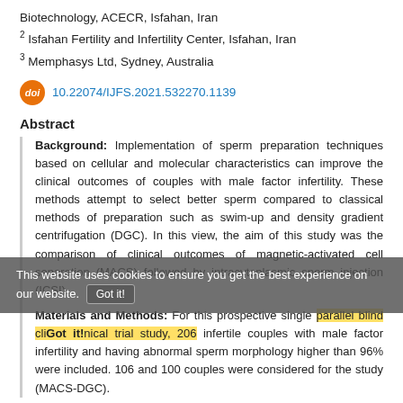Biotechnology, ACECR, Isfahan, Iran
2 Isfahan Fertility and Infertility Center, Isfahan, Iran
3 Memphasys Ltd, Sydney, Australia
doi 10.22074/IJFS.2021.532270.1139
Abstract
Background: Implementation of sperm preparation techniques based on cellular and molecular characteristics can improve the clinical outcomes of couples with male factor infertility. These methods attempt to select better sperm compared to classical methods of preparation such as swim-up and density gradient centrifugation (DGC). In this view, the aim of this study was the comparison of clinical outcomes of magnetic-activated cell separation (MACS) followed by intracytoplasmic sperm injection (ICSI).
Materials and Methods: For this prospective single parallel blind clinical trial study, 206 infertile couples with male factor infertility and having abnormal sperm morphology higher than 96% were included. 106 and 100 couples were considered for the study (MACS-DGC).